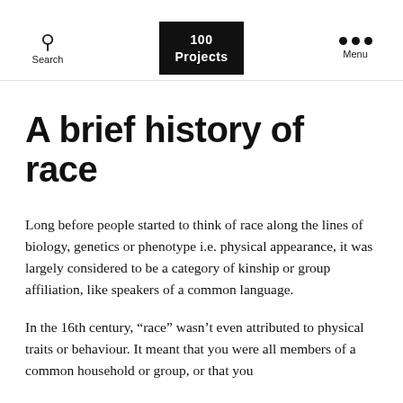Search | 100 Projects | Menu
A brief history of race
Long before people started to think of race along the lines of biology, genetics or phenotype i.e. physical appearance, it was largely considered to be a category of kinship or group affiliation, like speakers of a common language.
In the 16th century, “race” wasn’t even attributed to physical traits or behaviour. It meant that you were all members of a common household or group, or that you